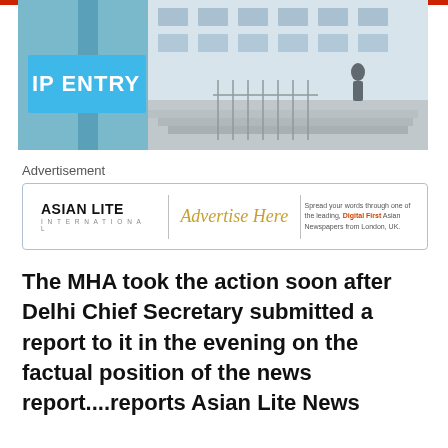[Figure (photo): Photograph of a building entrance with a blue 'IP ENTRY' sign in the foreground and steps/railings in the background]
Advertisement
[Figure (other): Asian Lite International advertisement box with 'Advertise Here' text and tagline: Spread your words through one of the leading, Digital First Asian Newspapers from London, UK.]
The MHA took the action soon after Delhi Chief Secretary submitted a report to it in the evening on the factual position of the news report....reports Asian Lite News